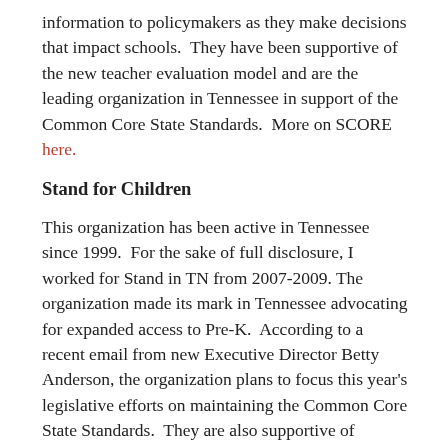information to policymakers as they make decisions that impact schools.  They have been supportive of the new teacher evaluation model and are the leading organization in Tennessee in support of the Common Core State Standards.  More on SCORE here.
Stand for Children
This organization has been active in Tennessee since 1999.  For the sake of full disclosure, I worked for Stand in TN from 2007-2009. The organization made its mark in Tennessee advocating for expanded access to Pre-K.  According to a recent email from new Executive Director Betty Anderson, the organization plans to focus this year's legislative efforts on maintaining the Common Core State Standards.  They are also supportive of expanded access to Pre-K and to improvements to the BEP.